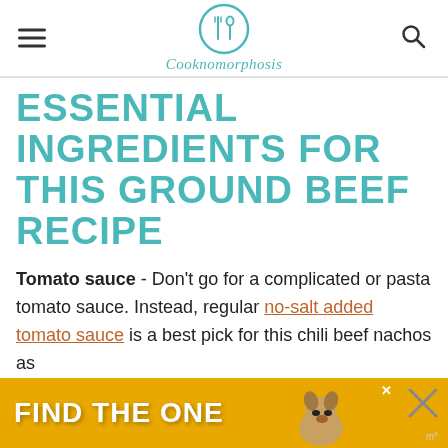Cooknomorphosis
ESSENTIAL INGREDIENTS FOR THIS GROUND BEEF RECIPE
Tomato sauce - Don't go for a complicated or pasta tomato sauce. Instead, regular no-salt added tomato sauce is a best pick for this chili beef nachos as
[Figure (other): Advertisement banner at the bottom: yellow/gold background with text 'FIND THE ONE' and a dog photo, close button X visible]